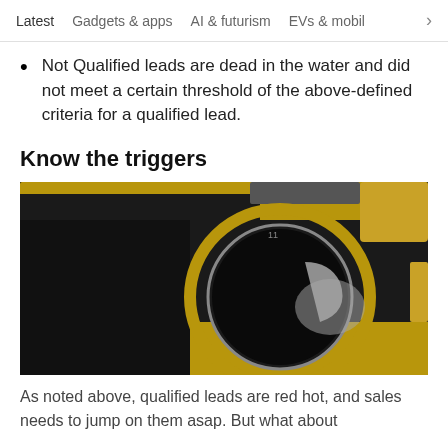Latest   Gadgets & apps   AI & futurism   EVs & mobil  >
Not Qualified leads are dead in the water and did not meet a certain threshold of the above-defined criteria for a qualified lead.
Know the triggers
[Figure (photo): Close-up photograph of a gun trigger guard and barrel, showing a dark circular barrel opening and gold/brass metal parts.]
As noted above, qualified leads are red hot, and sales needs to jump on them asap. But what about